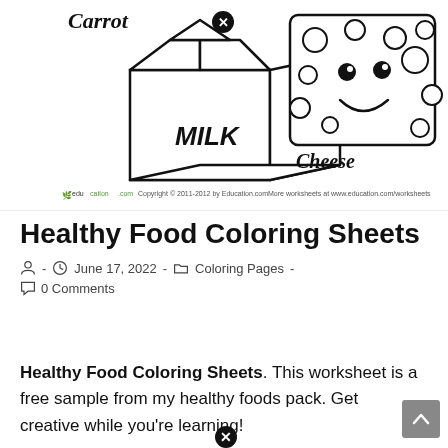[Figure (illustration): Coloring worksheet showing a milk carton labeled MILK on the left and a cheese block with a smiley face on the right. 'Carrot' text in comic style at top left. Bottom footer: education.com logo and copyright 2011-2012, with 'More worksheets at www.education.com/worksheets' on right.]
Healthy Food Coloring Sheets
June 17, 2022 · Coloring Pages · 0 Comments
Healthy Food Coloring Sheets. This worksheet is a free sample from my healthy foods pack. Get creative while you're learning!